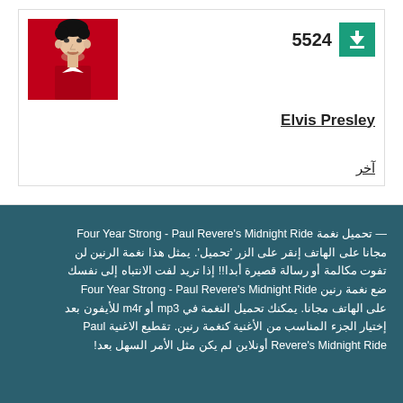[Figure (photo): Photo of Elvis Presley in a red outfit]
5524
Elvis Presley
آخر
— تحميل نغمة Four Year Strong - Paul Revere's Midnight Ride مجانا على الهاتف إنقر على الزر 'تحميل'. يمثل هذا نغمة الرنين لن تفوت مكالمة أو رسالة قصيرة أبدا!! إذا تريد لفت الانتباه إلى نفسك ضع نغمة رنين Four Year Strong - Paul Revere's Midnight Ride على الهاتف مجانا. يمكنك تحميل النغمة في mp3 أو m4r للأيفون بعد إختيار الجزء المناسب من الأغنية كنغمة رنين. تقطيع الاغنية Paul Revere's Midnight Ride أونلاين لم يكن مثل الأمر السهل بعد!